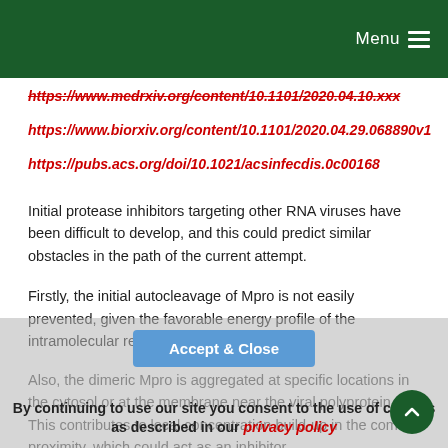Menu
https://www.medrxiv.org/content/10.1101/2020.04.10.xxx (strikethrough)
https://www.biorxiv.org/content/10.1101/2020.04.29.068890v1
https://pubs.acs.org/doi/10.1021/acsinfecdis.0c00168
Initial protease inhibitors targeting other RNA viruses have been difficult to develop, and this could predict similar obstacles in the path of the current attempt.
Firstly, the initial autocleavage of Mpro is not easily prevented, given the favorable energy profile of the intramolecular reaction.
Also, the dimeric Mpro is aggregated at specific locations in the cytosol or at the membrane near the viral polyprotein. This contributes to local concentration build-up in the compound of proximity, which could act as an inhibitor...
By continuing to use our site you consent to the use of cookies as described in our privacy policy